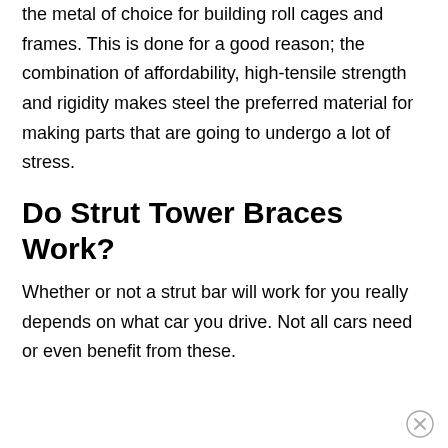the metal of choice for building roll cages and frames. This is done for a good reason; the combination of affordability, high-tensile strength and rigidity makes steel the preferred material for making parts that are going to undergo a lot of stress.
Do Strut Tower Braces Work?
Whether or not a strut bar will work for you really depends on what car you drive. Not all cars need or even benefit from these.